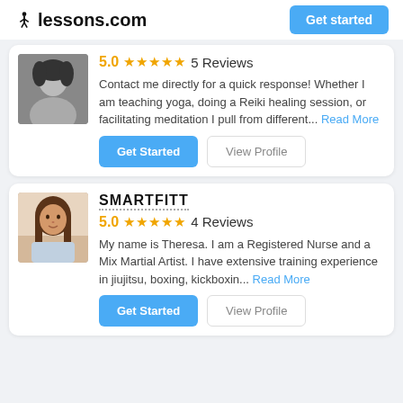lessons.com  Get started
[Figure (photo): Black and white profile photo of first instructor (woman)]
5.0 ★★★★★ 5 Reviews
Contact me directly for a quick response! Whether I am teaching yoga, doing a Reiki healing session, or facilitating meditation I pull from different... Read More
Get Started  View Profile
SMARTFITT
[Figure (photo): Color profile photo of Theresa, a woman with long brown hair, smiling]
5.0 ★★★★★ 4 Reviews
My name is Theresa. I am a Registered Nurse and a Mix Martial Artist. I have extensive training experience in jiujitsu, boxing, kickboxin... Read More
Get Started  View Profile